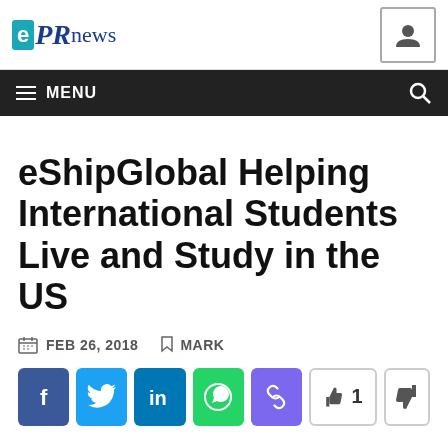ePRnews
MENU
eShipGlobal Helping International Students Live and Study in the US
FEB 26, 2018  MARK
[Figure (other): Social share buttons: Facebook, Twitter, LinkedIn, WhatsApp, Link; thumbs up with count 1, thumbs down]